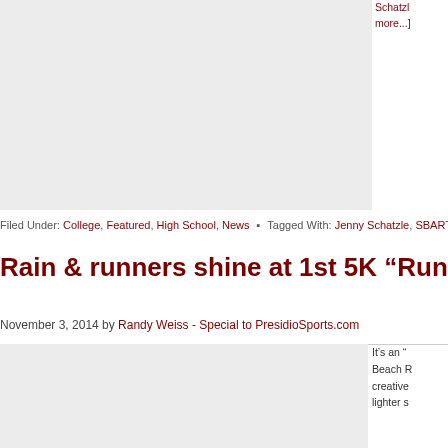[Figure (photo): Image placeholder top left, gray background]
Schatzle more...]
Filed Under: College, Featured, High School, News • Tagged With: Jenny Schatzle, SBART
Rain & runners shine at 1st 5K “Run for Lo…
November 3, 2014 by Randy Weiss - Special to PresidioSports.com
[Figure (photo): Image placeholder bottom left, gray background]
It’s an “ Beach R creative lighter s